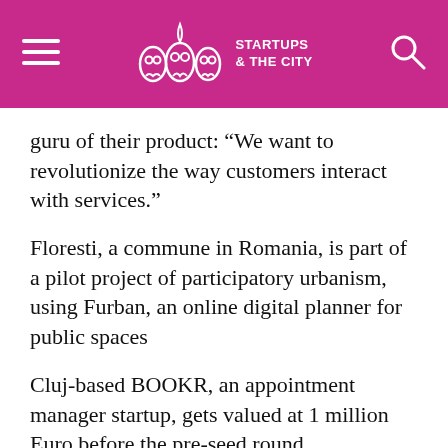STARTUPS & THE CITY
guru of their product: “We want to revolutionize the way customers interact with services.”
Floresti, a commune in Romania, is part of a pilot project of participatory urbanism, using Furban, an online digital planner for public spaces
Cluj-based BOOKR, an appointment manager startup, gets valued at 1 million Euro before the pre-seed round
The Big Score, connecting VCs and corporates with B2B startups in Ghent, Belgium, this December